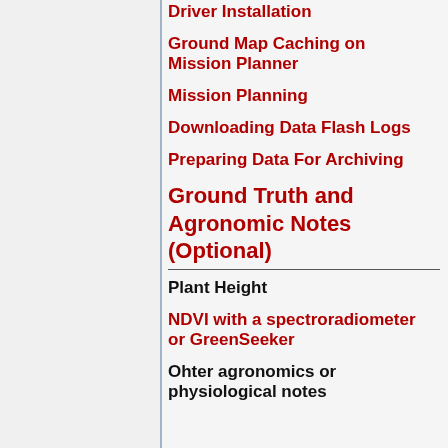Driver Installation
Ground Map Caching on Mission Planner
Mission Planning
Downloading Data Flash Logs
Preparing Data For Archiving
Ground Truth and Agronomic Notes (Optional)
Plant Height
NDVI with a spectroradiometer or GreenSeeker
Ohter agronomics or physiological notes